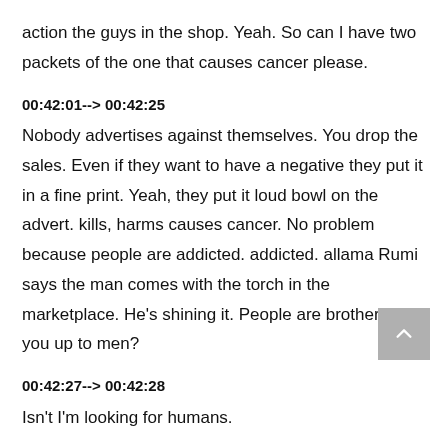action the guys in the shop. Yeah. So can I have two packets of the one that causes cancer please.
00:42:01--> 00:42:25
Nobody advertises against themselves. You drop the sales. Even if they want to have a negative they put it in a fine print. Yeah, they put it loud bowl on the advert. kills, harms causes cancer. No problem because people are addicted. addicted. allama Rumi says the man comes with the torch in the marketplace. He's shining it. People are brother what you up to men?
00:42:27--> 00:42:28
Isn't I'm looking for humans.
00:42:30--> 00:42:32